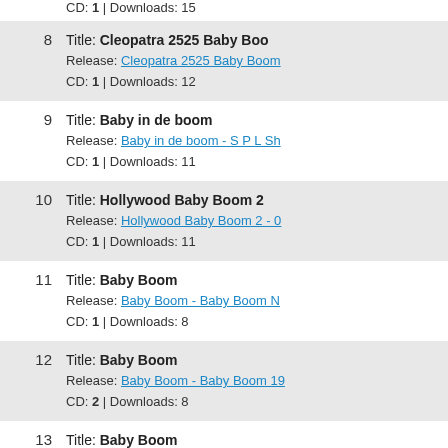CD: 1 | Downloads: 15
8  Title: Cleopatra 2525 Baby Boom  Release: Cleopatra 2525 Baby Boom  CD: 1 | Downloads: 12
9  Title: Baby in de boom  Release: Baby in de boom - S P L Sha  CD: 1 | Downloads: 11
10  Title: Hollywood Baby Boom 2  Release: Hollywood Baby Boom 2 - 0  CD: 1 | Downloads: 11
11  Title: Baby Boom  Release: Baby Boom - Baby Boom N  CD: 1 | Downloads: 8
12  Title: Baby Boom  Release: Baby Boom - Baby Boom 19  CD: 2 | Downloads: 8
13  Title: Baby Boom  Release: Baby Boom - Baby Boom gr  CD: 1 | Downloads: 7